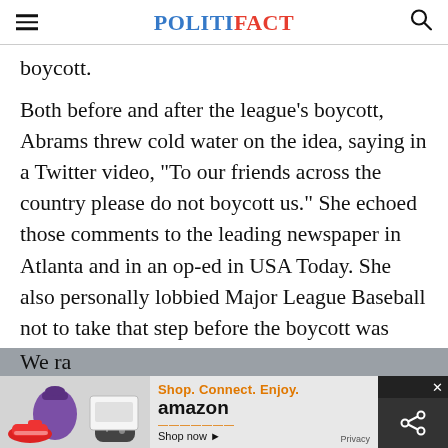POLITIFACT
boycott.
Both before and after the league's boycott, Abrams threw cold water on the idea, saying in a Twitter video, "To our friends across the country please do not boycott us." She echoed those comments to the leading newspaper in Atlanta and in an op-ed in USA Today. She also personally lobbied Major League Baseball not to take that step before the boycott was announced.
We ra